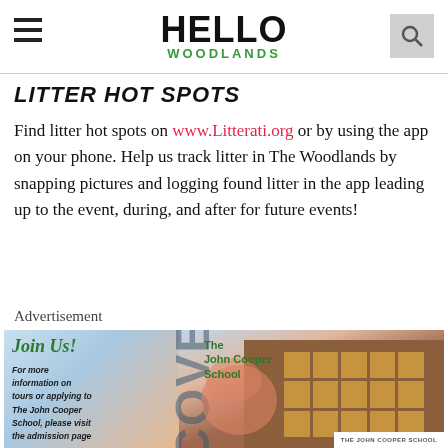HELLO WOODLANDS
LITTER HOT SPOTS
Find litter hot spots on www.Litterati.org or by using the app on your phone. Help us track litter in The Woodlands by snapping pictures and logging found litter in the app leading up to the event, during, and after for future events!
Advertisement
[Figure (photo): Advertisement for The John Cooper School featuring a building photograph with text 'Discover The John Cooper School', 'Join Us!', and information about tours and admissions.]